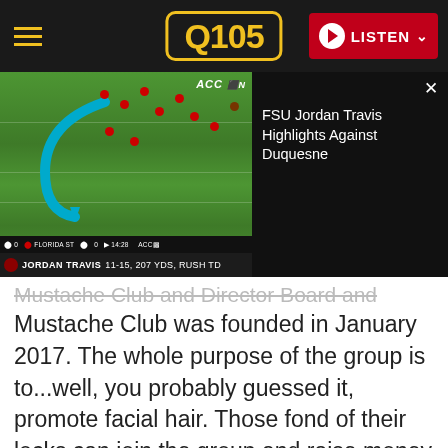Q105 - LISTEN
[Figure (screenshot): Video thumbnail of FSU Jordan Travis football highlights against Duquesne, showing football field aerial view with ACC Network logo, score bar, and player name bar reading JORDAN TRAVIS 11-15, 207 YDS, RUSH TD. Beside the thumbnail is a dark panel with title 'FSU Jordan Travis Highlights Against Duquesne' and a close X button.]
Mustache Club was founded in January 2017. The whole purpose of the group is to...well, you probably guessed it, promote facial hair. Those fond of their locks can join the group and raise money for awesome organizations.